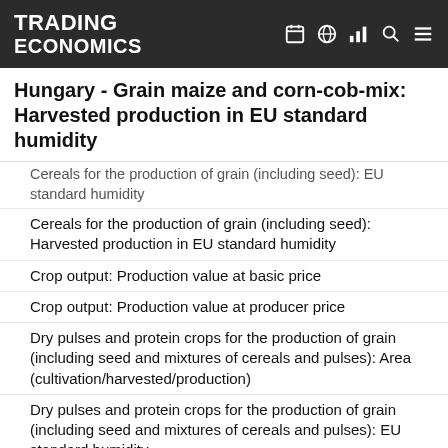TRADING ECONOMICS
Hungary - Grain maize and corn-cob-mix: Harvested production in EU standard humidity
Cereals for the production of grain (including seed): EU standard humidity
Cereals for the production of grain (including seed): Harvested production in EU standard humidity
Crop output: Production value at basic price
Crop output: Production value at producer price
Dry pulses and protein crops for the production of grain (including seed and mixtures of cereals and pulses): Area (cultivation/harvested/production)
Dry pulses and protein crops for the production of grain (including seed and mixtures of cereals and pulses): EU standard humidity
Dry pulses and protein crops for the production of grain (including seed and mixtures of cereals and pulses): Harvested production in EU standard humidity
Grain maize and corn-cob-mix: Area (cultivation/harvested/production)
Grain maize and corn-cob-mix: EU standard humidity